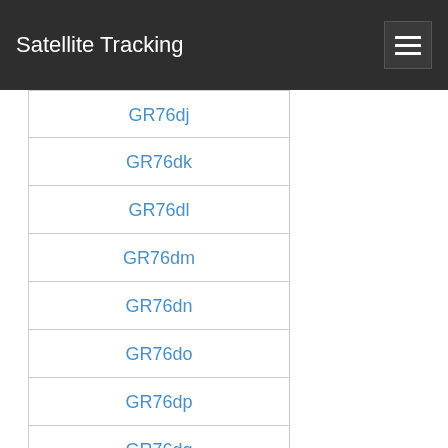Satellite Tracking
GR76dj
GR76dk
GR76dl
GR76dm
GR76dn
GR76do
GR76dp
GR76dq
GR76dr
GR76ds
GR76dt
GR76du
GR76dv
GR76dw
GR76dx
GR76ea
GR76eb
GR76ec